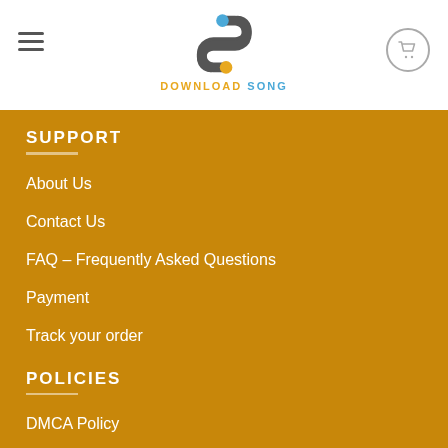[Figure (logo): Download Song logo with stylized S icon in dark gray with blue and yellow circles, and text 'DOWNLOAD SONG' in orange and blue]
SUPPORT
About Us
Contact Us
FAQ – Frequently Asked Questions
Payment
Track your order
POLICIES
DMCA Policy
Privacy Policy